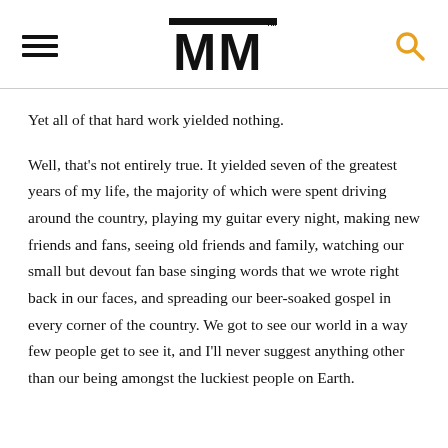MM
Yet all of that hard work yielded nothing.
Well, that’s not entirely true. It yielded seven of the greatest years of my life, the majority of which were spent driving around the country, playing my guitar every night, making new friends and fans, seeing old friends and family, watching our small but devout fan base singing words that we wrote right back in our faces, and spreading our beer-soaked gospel in every corner of the country. We got to see our world in a way few people get to see it, and I’ll never suggest anything other than our being amongst the luckiest people on Earth.